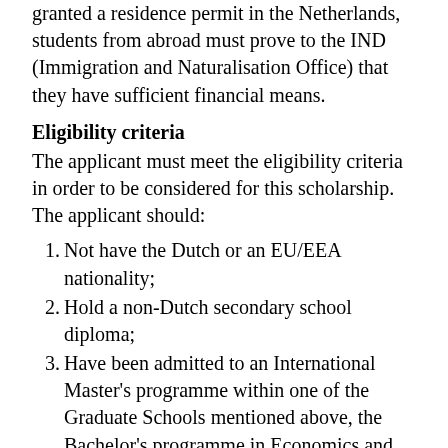granted a residence permit in the Netherlands, students from abroad must prove to the IND (Immigration and Naturalisation Office) that they have sufficient financial means.
Eligibility criteria
The applicant must meet the eligibility criteria in order to be considered for this scholarship. The applicant should:
Not have the Dutch or an EU/EEA nationality;
Hold a non-Dutch secondary school diploma;
Have been admitted to an International Master's programme within one of the Graduate Schools mentioned above, the Bachelor's programme in Economics and Business Economics or to University College Utrecht;
Hold a relevant Bachelor's degree (for a Master's programme) or secondary school